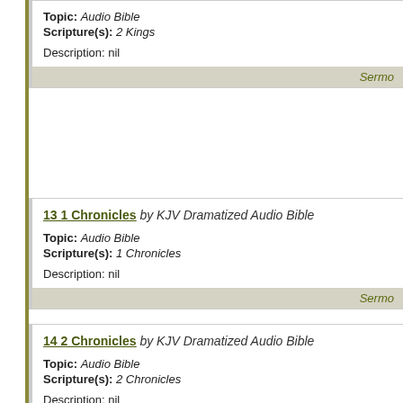Topic: Audio Bible Scripture(s): 2 Kings Description: nil
13 1 Chronicles by KJV Dramatized Audio Bible Topic: Audio Bible Scripture(s): 1 Chronicles Description: nil
14 2 Chronicles by KJV Dramatized Audio Bible Topic: Audio Bible Scripture(s): 2 Chronicles Description: nil